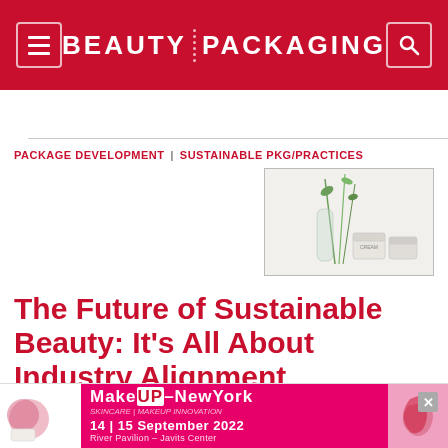BEAUTY PACKAGING
PACKAGE DEVELOPMENT | SUSTAINABLE PKG/PRACTICES
[Figure (photo): Skincare products with green plant stems in minimalist glass packaging on a light background]
The Future of Sustainable Beauty: It's All About Industry Alignment
Shiseido's Jess Abrams asks, 'We are all facing similar challenges, so why not share our learnings to better the industry?'
[Figure (infographic): MakeUp In NewYork advertisement banner: 14|15 September 2022, River Pavilion – Javits Center]